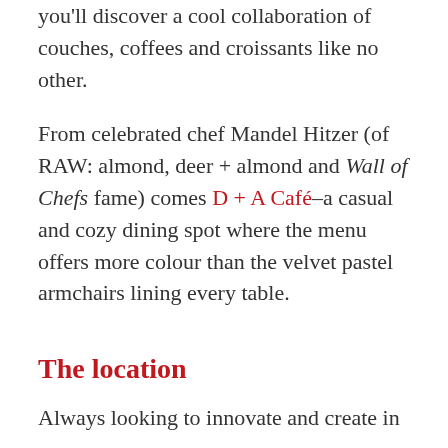you'll discover a cool collaboration of couches, coffees and croissants like no other.
From celebrated chef Mandel Hitzer (of RAW: almond, deer + almond and Wall of Chefs fame) comes D + A Café–a casual and cozy dining spot where the menu offers more colour than the velvet pastel armchairs lining every table.
The location
Always looking to innovate and create in